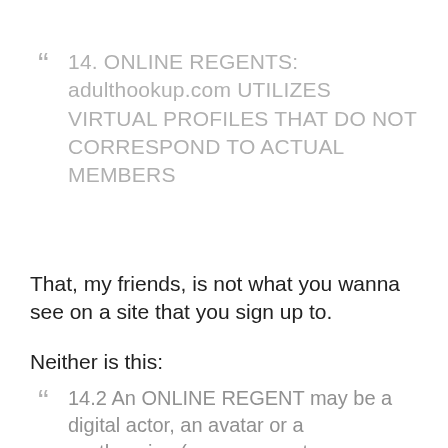" 14. ONLINE REGENTS: adulthookup.com UTILIZES VIRTUAL PROFILES THAT DO NOT CORRESPOND TO ACTUAL MEMBERS
That, my friends, is not what you wanna see on a site that you sign up to.
Neither is this:
" 14.2 An ONLINE REGENT may be a digital actor, an avatar or a synthespian (e.g. a computer